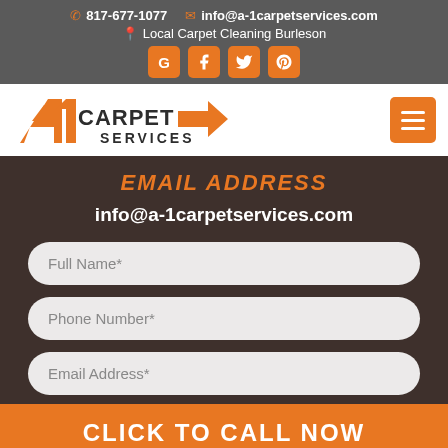817-677-1077  info@a-1carpetservices.com  Local Carpet Cleaning Burleson
[Figure (logo): A1 Carpet Services logo with orange A1 graphic and dark text reading CARPET SERVICES]
EMAIL ADDRESS
info@a-1carpetservices.com
Full Name*
Phone Number*
Email Address*
CLICK TO CALL NOW